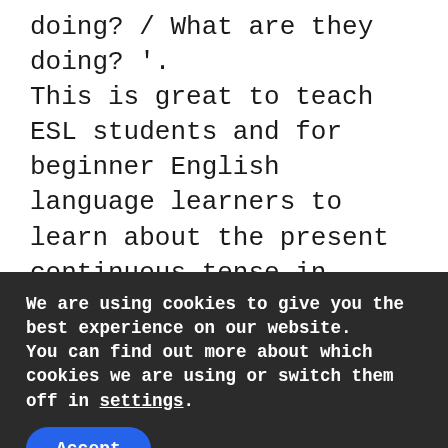doing? / What are they doing? '. This is great to teach ESL students and for beginner English language learners to learn about the present continuous tense in English.
We are using cookies to give you the best experience on our website.
You can find out more about which cookies we are using or switch them off in settings.